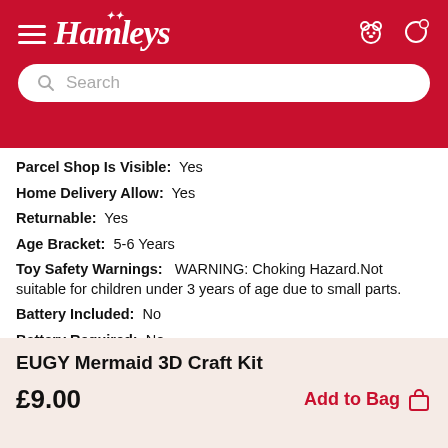[Figure (screenshot): Hamleys website header with red background, hamburger menu, Hamleys logo in white italic script, search bar, and header icons]
Parcel Shop Is Visible: Yes
Home Delivery Allow: Yes
Returnable: Yes
Age Bracket: 5-6 Years
Toy Safety Warnings: WARNING: Choking Hazard.Not suitable for children under 3 years of age due to small parts.
Battery Included: No
Battery Required: No
Weight (KG): 0.01
EUGY Mermaid 3D Craft Kit
£9.00
Add to Bag